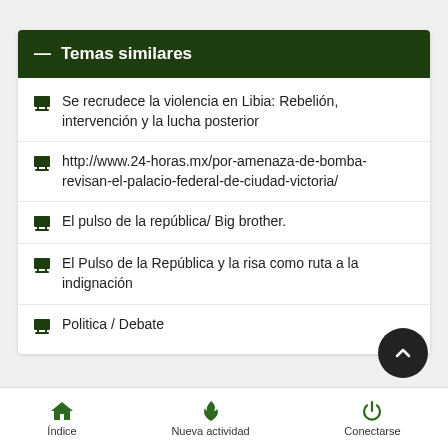— Temas similares
Se recrudece la violencia en Libia: Rebelión, intervención y la lucha posterior
http://www.24-horas.mx/por-amenaza-de-bomba-revisan-el-palacio-federal-de-ciudad-victoria/
El pulso de la república/ Big brother.
El Pulso de la República y la risa como ruta a la indignación
Politica / Debate
Índice   Nueva actividad   Conectarse